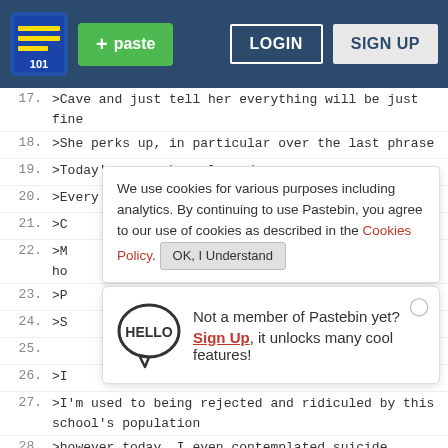Pastebin navigation bar with logo, + paste button, LOGIN and SIGN UP buttons
17. >Cave and just tell her everything will be just fine
18. >She perks up, in particular over the last phrase
19. >Today's gonna be a long day
20. >Every day is a long day
21. >C
22. >M ho
23. >P
24. >S
25.
26. >I
27. >I'm used to being rejected and ridiculed by this school's population
28. >however today, I even contemplated suicide
29. >maybe my heart was finally pierced by the constant attack of everyone except for a few
We use cookies for various purposes including analytics. By continuing to use Pastebin, you agree to our use of cookies as described in the Cookies Policy. OK, I Understand
Not a member of Pastebin yet? Sign Up, it unlocks many cool features!